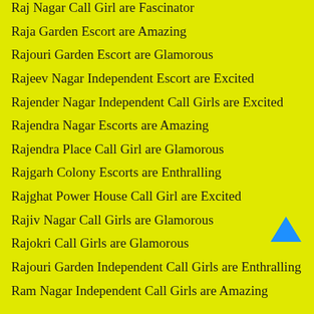Raj Nagar Call Girl are Fascinator
Raja Garden Escort are Amazing
Rajouri Garden Escort are Glamorous
Rajeev Nagar Independent Escort are Excited
Rajender Nagar Independent Call Girls are Excited
Rajendra Nagar Escorts are Amazing
Rajendra Place Call Girl are Glamorous
Rajgarh Colony Escorts are Enthralling
Rajghat Power House Call Girl are Excited
Rajiv Nagar Call Girls are Glamorous
Rajokri Call Girls are Glamorous
Rajouri Garden Independent Call Girls are Enthralling
Ram Nagar Independent Call Girls are Amazing